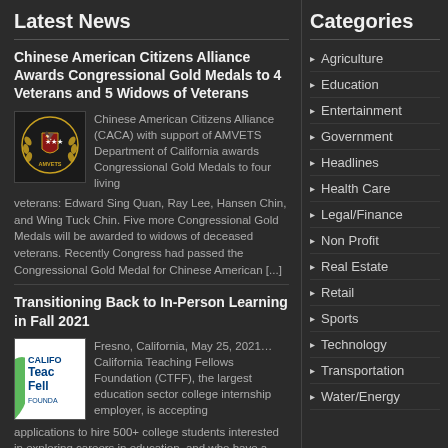Latest News
Chinese American Citizens Alliance Awards Congressional Gold Medals to 4 Veterans and 5 Widows of Veterans
[Figure (logo): AMVETS emblem/seal logo on dark background]
Chinese American Citizens Alliance (CACA) with support of AMVETS Department of California awards Congressional Gold Medals to four living veterans: Edward Sing Quan, Ray Lee, Hansen Chin, and Wing Tuck Chin. Five more Congressional Gold Medals will be awarded to widows of deceased veterans. Recently Congress had passed the Congressional Gold Medal for Chinese American [...]
Transitioning Back to In-Person Learning in Fall 2021
[Figure (logo): California Teaching Fellows Foundation (CTFF) logo - blue and green with white text]
Fresno, California, May 25, 2021… California Teaching Fellows Foundation (CTFF), the largest education sector college internship employer, is accepting applications to hire 500+ college students interested in exploring careers in education, and who have a passion
Categories
Agriculture
Education
Entertainment
Government
Headlines
Health Care
Legal/Finance
Non Profit
Real Estate
Retail
Sports
Technology
Transportation
Water/Energy